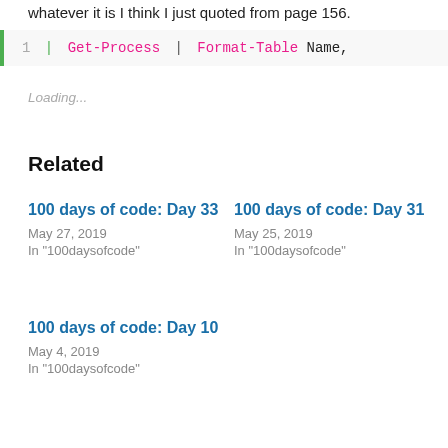whatever it is I think I just quoted from page 156.
1 | Get-Process | Format-Table Name,
Loading...
Related
100 days of code: Day 33
May 27, 2019
In "100daysofcode"
100 days of code: Day 31
May 25, 2019
In "100daysofcode"
100 days of code: Day 10
May 4, 2019
In "100daysofcode"